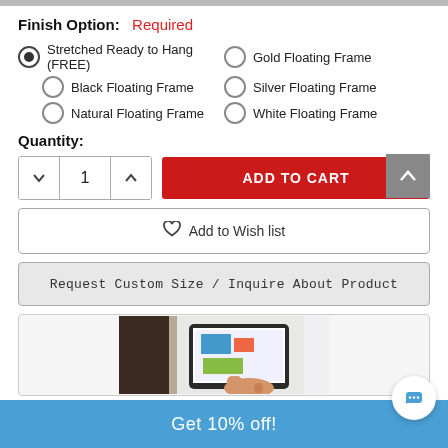Finish Option: Required
Stretched Ready to Hang (FREE) [selected]
Gold Floating Frame
Black Floating Frame
Silver Floating Frame
Natural Floating Frame
White Floating Frame
Quantity:
1
ADD TO CART
Add to Wish list
Request Custom Size / Inquire About Product
[Figure (photo): Person holding a tablet displaying artwork, shown next to a framed canvas on a wall]
Get 10% off!